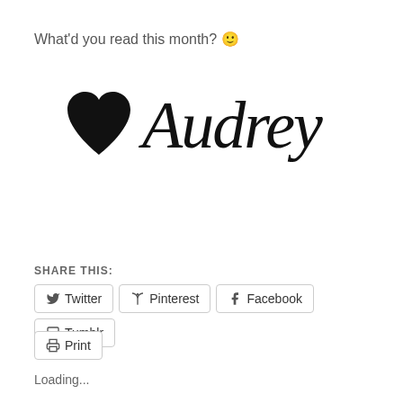What'd you read this month? 🙂
[Figure (illustration): Black heart symbol followed by cursive script signature 'Audrey' in large decorative font]
SHARE THIS:
Twitter
Pinterest
Facebook
Tumblr
Print
Loading...